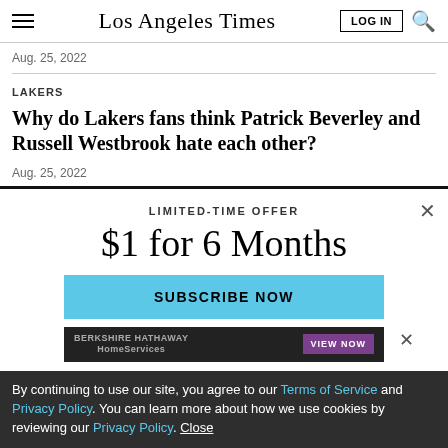Los Angeles Times
Aug. 25, 2022
LAKERS
Why do Lakers fans think Patrick Beverley and Russell Westbrook hate each other?
Aug. 25, 2022
LIMITED-TIME OFFER
$1 for 6 Months
SUBSCRIBE NOW
By continuing to use our site, you agree to our Terms of Service and Privacy Policy. You can learn more about how we use cookies by reviewing our Privacy Policy. Close